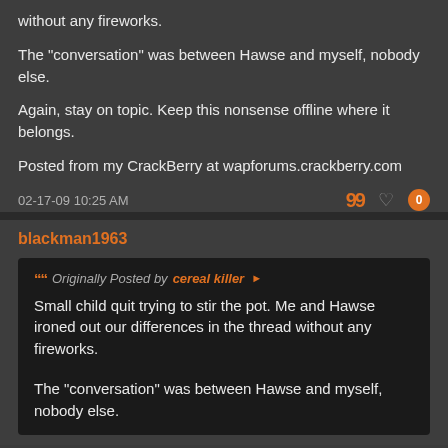without any fireworks.
The "conversation" was between Hawse and myself, nobody else.
Again, stay on topic. Keep this nonsense offline where it belongs.
Posted from my CrackBerry at wapforums.crackberry.com
02-17-09 10:25 AM
blackman1963
Originally Posted by cereal killer
Small child quit trying to stir the pot. Me and Hawse ironed out our differences in the thread without any fireworks.
The "conversation" was between Hawse and myself, nobody else.